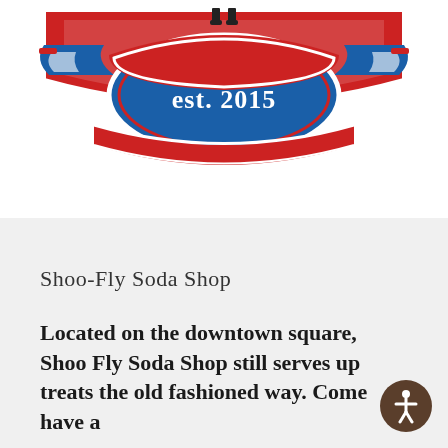[Figure (logo): Shoo-Fly Soda Shop logo with red banner, blue shield shape, white text reading 'est. 2015', decorative red and white border elements, and small boots/legs icon at top center]
Shoo-Fly Soda Shop
Located on the downtown square, Shoo Fly Soda Shop still serves up treats the old fashioned way. Come have a